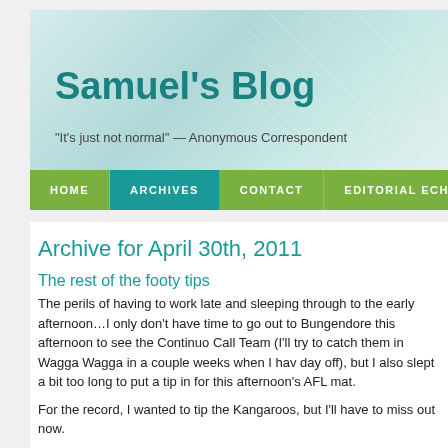Samuel's Blog
"It's just not normal" — Anonymous Correspondent
HOME | ARCHIVES | CONTACT | EDITORIAL ECHOES
Archive for April 30th, 2011
The rest of the footy tips
The perils of having to work late and sleeping through to the early afternoon…I not only don't have time to go out to Bungendore this afternoon to see the Continuous Call Team (I'll try to catch them in Wagga Wagga in a couple weeks when I have a day off), but I also slept a bit too long to put a tip in for this afternoon's AFL mat.
For the record, I wanted to tip the Kangaroos, but I'll have to miss out now.
AFL